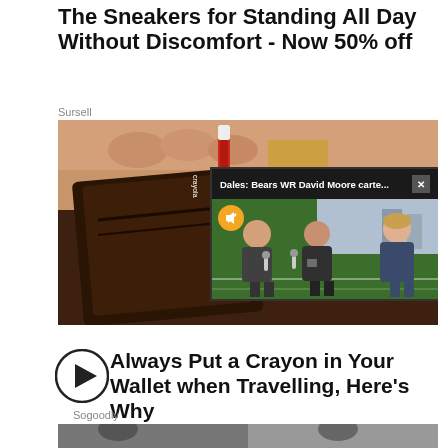The Sneakers for Standing All Day Without Discomfort - Now 50% off
Sursell
[Figure (photo): Close-up photo of a hand holding a brown leather wallet with a crayon inside, with a video overlay popup showing 'Dales: Bears WR David Moore carte...' with a close button, and thumbnail of sports reporters/interviewers on a green field]
Always Put a Crayon in Your Wallet when Travelling, Here's Why
Sogoodly
[Figure (photo): Partial bottom strip showing the beginning of another image]